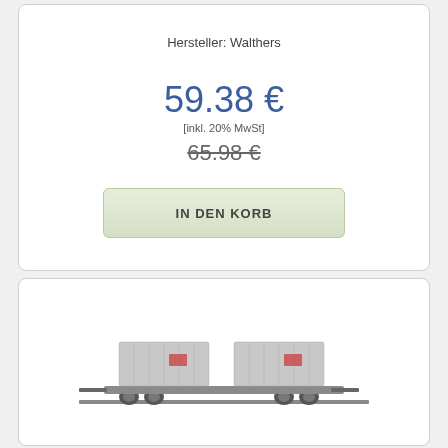Hersteller: Walthers
59.38 €
[inkl. 20% MwSt]
65.98 €
IN DEN KORB
[Figure (photo): Model train flat car with two silver/grey containers on top, photographed on white background]